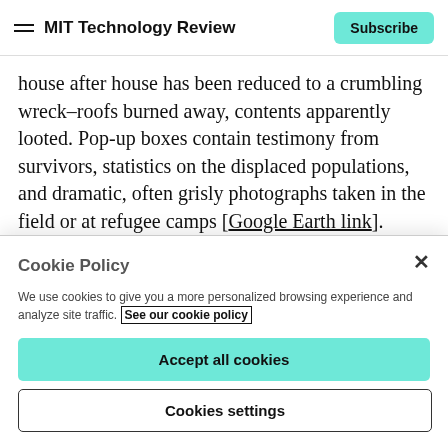MIT Technology Review — Subscribe
house after house has been reduced to a crumbling wreck–roofs burned away, contents apparently looted. Pop-up boxes contain testimony from survivors, statistics on the displaced populations, and dramatic, often grisly photographs taken in the field or at refugee camps [Google Earth link].
This evidence of genocide is attached to the same digital
Cookie Policy
We use cookies to give you a more personalized browsing experience and analyze site traffic. See our cookie policy
Accept all cookies
Cookies settings